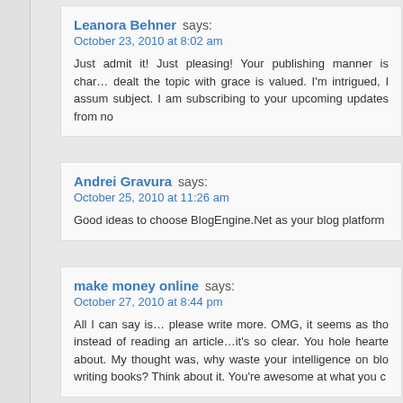Leanora Behner says: October 23, 2010 at 8:02 am — Just admit it! Just pleasing! Your publishing manner is charming, dealt the topic with grace is valued. I'm intrigued, I assume the subject. I am subscribing to your upcoming updates from no
Andrei Gravura says: October 25, 2010 at 11:26 am — Good ideas to choose BlogEngine.Net as your blog platform
make money online says: October 27, 2010 at 8:44 pm — All I can say is... please write more. OMG, it seems as though instead of reading an article...it's so clear. You hole hearte about. My thought was, why waste your intelligence on blo writing books? Think about it. You're awesome at what you c
Christain Audigier says: October 29, 2010 at 9:05 am — Its hard to find sharp people about this topic, but you appea talking about! More than...